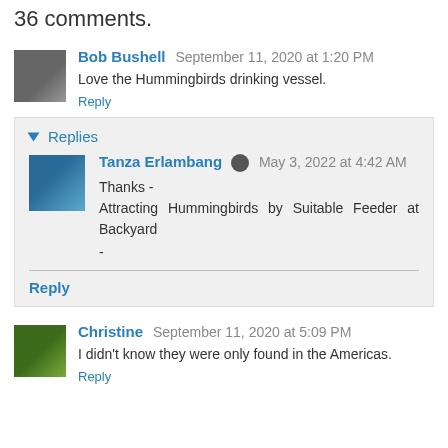36 comments.
Bob Bushell  September 11, 2020 at 1:20 PM
Love the Hummingbirds drinking vessel.
Reply
Replies
Tanza Erlambang  May 3, 2022 at 4:42 AM
Thanks -
Attracting Hummingbirds by Suitable Feeder at Backyard
-
Reply
Christine  September 11, 2020 at 5:09 PM
I didn't know they were only found in the Americas.
Reply